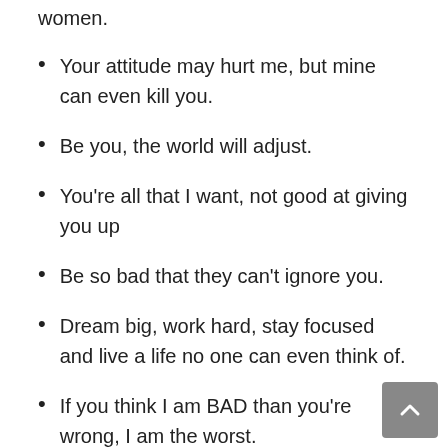women.
Your attitude may hurt me, but mine can even kill you.
Be you, the world will adjust.
You're all that I want, not good at giving you up
Be so bad that they can't ignore you.
Dream big, work hard, stay focused and live a life no one can even think of.
If you think I am BAD than you're wrong, I am the worst.